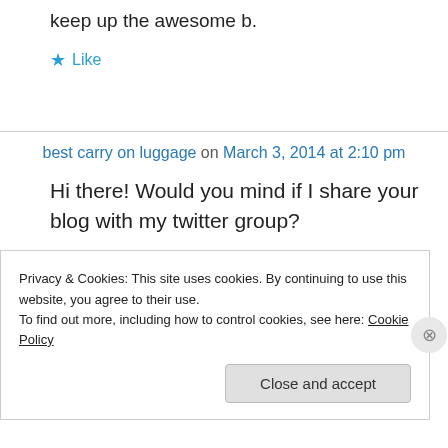keep up the awesome b.
★ Like
best carry on luggage on March 3, 2014 at 2:10 pm
Hi there! Would you mind if I share your blog with my twitter group?
Privacy & Cookies: This site uses cookies. By continuing to use this website, you agree to their use.
To find out more, including how to control cookies, see here: Cookie Policy
Close and accept